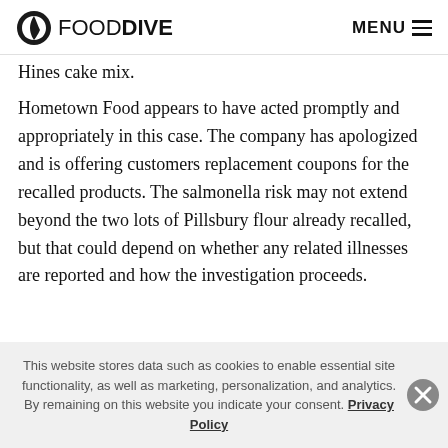FOOD DIVE   MENU
Hines cake mix.
Hometown Food appears to have acted promptly and appropriately in this case. The company has apologized and is offering customers replacement coupons for the recalled products. The salmonella risk may not extend beyond the two lots of Pillsbury flour already recalled, but that could depend on whether any related illnesses are reported and how the investigation proceeds.
This website stores data such as cookies to enable essential site functionality, as well as marketing, personalization, and analytics. By remaining on this website you indicate your consent. Privacy Policy